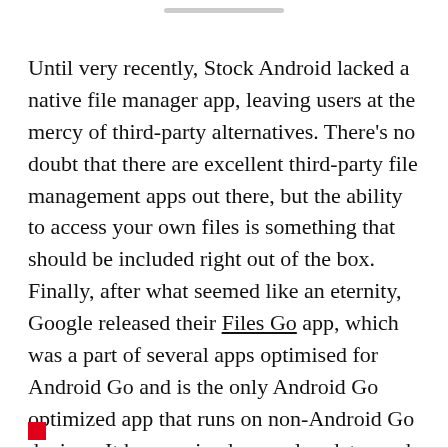Until very recently, Stock Android lacked a native file manager app, leaving users at the mercy of third-party alternatives. There's no doubt that there are excellent third-party file management apps out there, but the ability to access your own files is something that should be included right out of the box. Finally, after what seemed like an eternity, Google released their Files Go app, which was a part of several apps optimised for Android Go and is the only Android Go optimized app that runs on non-Android Go devices. It has received several updates and features since. It also happens to be one of the very few Google apps that are allowed in the Chinese market. Today, it receives an update that adds more features. Here's the changelog: